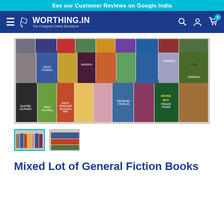See our Customer Reviews on Google India
[Figure (logo): Worthing.in logo - The Cheapest Online Bookstore navigation bar with hamburger menu, search, account, and cart icons]
[Figure (photo): A large collection of mixed general fiction paperback and hardback books spread out on a surface, including titles like RAMSES, VINE, SIMENON, Peter May Freeze Frame, Erica Spindler Shocking Pink, Redmond O'Hanlon, Elmore Leonard, Craig Thomas, McBain, and others]
[Figure (photo): Thumbnail 1 - selected, same books photo main view with cyan border]
[Figure (photo): Thumbnail 2 - alternate view of books stacked]
Mixed Lot of General Fiction Books